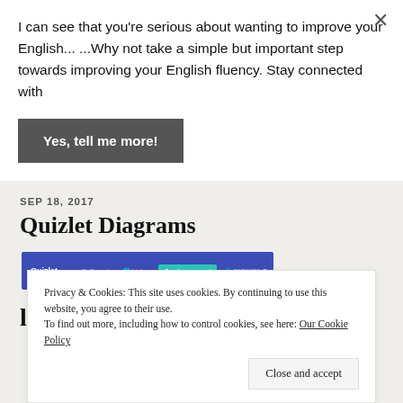I can see that you're serious about wanting to improve your English... ...Why not take a simple but important step towards improving your English fluency. Stay connected with
[Figure (other): A dark gray button with white bold text reading 'Yes, tell me more!']
SEP 18, 2017
Quizlet Diagrams
[Figure (screenshot): Screenshot of Quizlet website header/navigation bar with blue background, Quizlet logo on left, navigation links, a teal 'Create a new set' button, and user avatar on the right.]
learning tool of mine, Quizlet,
Privacy & Cookies: This site uses cookies. By continuing to use this website, you agree to their use.
To find out more, including how to control cookies, see here: Our Cookie Policy
[Figure (other): A light gray button with text 'Close and accept']